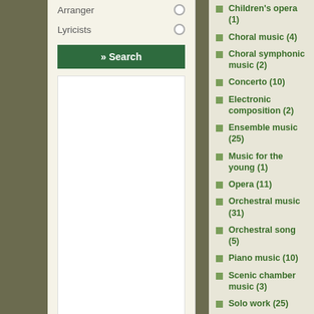Arranger
Lyricists
» Search
Children's opera (1)
Choral music (4)
Choral symphonic music (2)
Concerto (10)
Electronic composition (2)
Ensemble music (25)
Music for the young (1)
Opera (11)
Orchestral music (31)
Orchestral song (5)
Piano music (10)
Scenic chamber music (3)
Solo work (25)
Stage work (4)
Vocal chamber music (46)
Vocal ensemble music (3)
Vocal symphonic music (6)